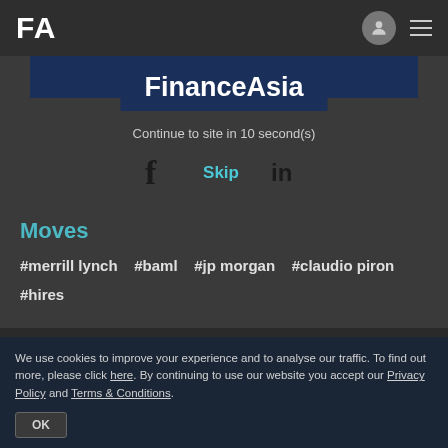FA
[Figure (logo): FinanceAsia logo overlay on sign-in banner]
Continue to site in 10 second(s)
Skip
Moves
#merrill lynch   #baml   #jp morgan   #claudio piron   #hires
FollowUs
We use cookies to improve your experience and to analyse our traffic. To find out more, please click here. By continuing to use our website you accept our Privacy Policy and Terms & Conditions.
OK